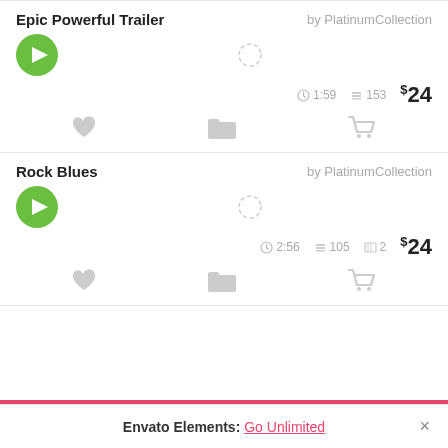Epic Powerful Trailer — by PlatinumCollection — 1:59 — 153 — $24
Rock Blues — by PlatinumCollection — 2:56 — 105 — 2 — $24
Envato Elements: Go Unlimited ×